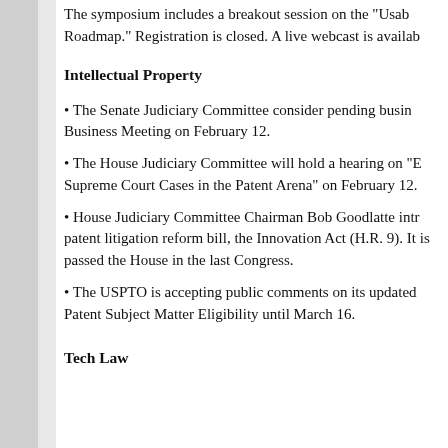The symposium includes a breakout session on the “Usability Roadmap.” Registration is closed. A live webcast is available.
Intellectual Property
• The Senate Judiciary Committee consider pending business at its Business Meeting on February 12.
• The House Judiciary Committee will hold a hearing on “Emerging Supreme Court Cases in the Patent Arena” on February 12.
• House Judiciary Committee Chairman Bob Goodlatte introduced a patent litigation reform bill, the Innovation Act (H.R. 9). It is similar to a bill that passed the House in the last Congress.
• The USPTO is accepting public comments on its updated guidelines on Patent Subject Matter Eligibility until March 16.
Tech Law